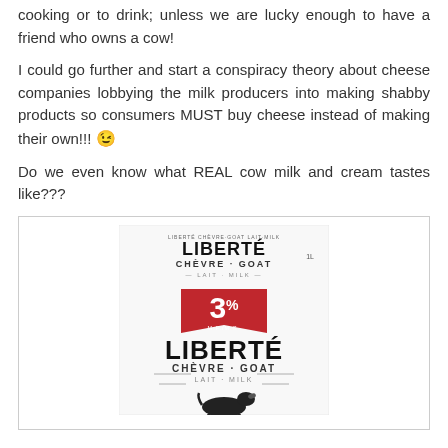cooking or to drink; unless we are lucky enough to have a friend who owns a cow!
I could go further and start a conspiracy theory about cheese companies lobbying the milk producers into making shabby products so consumers MUST buy cheese instead of making their own!!! 😊
Do we even know what REAL cow milk and cream tastes like???
[Figure (photo): A carton of Liberté Chèvre·Goat Lait·Milk 3% goat milk, white carton with red banner showing 3% and a goat illustration at the bottom.]